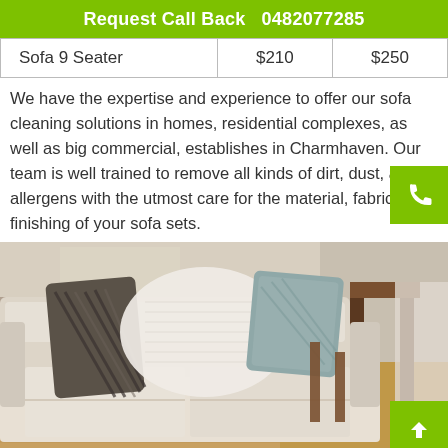Request Call Back   0482077285
| Sofa 9 Seater | $210 | $250 |
We have the expertise and experience to offer our sofa cleaning solutions in homes, residential complexes, as well as big commercial, establishes in Charmhaven. Our team is well trained to remove all kinds of dirt, dust, and allergens with the utmost care for the material, fabric, and finishing of your sofa sets.
[Figure (photo): A cream/beige sofa with several decorative cushions (dark striped, white/light, and blue-grey patterned) in a living room with wooden flooring and furniture in the background.]